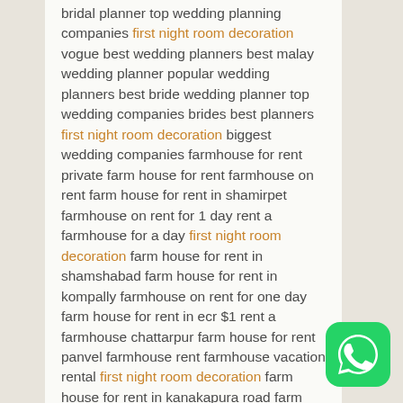bridal planner top wedding planning companies first night room decoration vogue best wedding planners best malay wedding planner popular wedding planners best bride wedding planner top wedding companies brides best planners first night room decoration biggest wedding companies farmhouse for rent private farm house for rent farmhouse on rent farm house for rent in shamirpet farmhouse on rent for 1 day rent a farmhouse for a day first night room decoration farm house for rent in shamshabad farm house for rent in kompally farmhouse on rent for one day farm house for rent in ecr $1 rent a farmhouse chattarpur farm house for rent panvel farmhouse rent farmhouse vacation rental first night room decoration farm house for rent in kanakapura road farm house for rent in medchal farm house for rent in pollachi small farm house for rent old farm
[Figure (logo): WhatsApp logo button (green rounded square with white phone handset icon)]